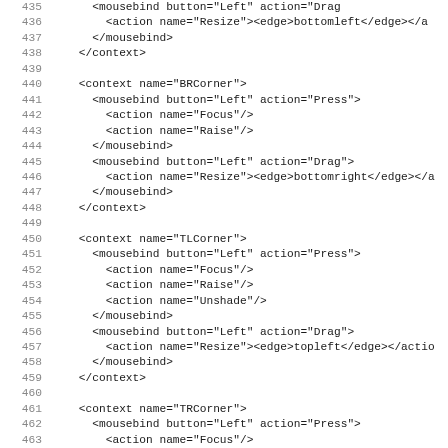Code listing showing XML configuration for window corner mouse bindings (lines 435-467), including BRCorner, TLCorner, and TRCorner context definitions with mousebind actions for Focus, Raise, Unshade, and Resize.